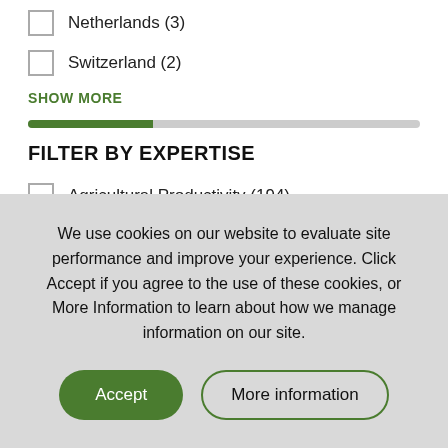Netherlands (3)
Switzerland (2)
SHOW MORE
FILTER BY EXPERTISE
Agricultural Productivity (194)
Monitoring, Evaluation, and Learning (145)
We use cookies on our website to evaluate site performance and improve your experience. Click Accept if you agree to the use of these cookies, or More Information to learn about how we manage information on our site.